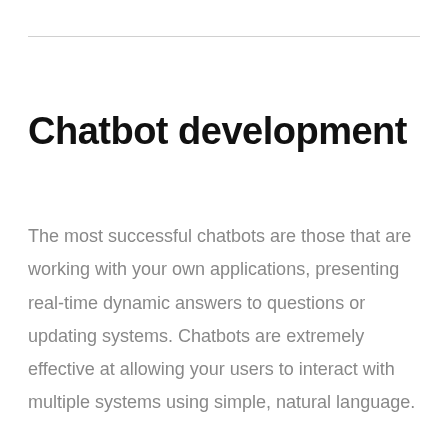Chatbot development
The most successful chatbots are those that are working with your own applications, presenting real-time dynamic answers to questions or updating systems. Chatbots are extremely effective at allowing your users to interact with multiple systems using simple, natural language.